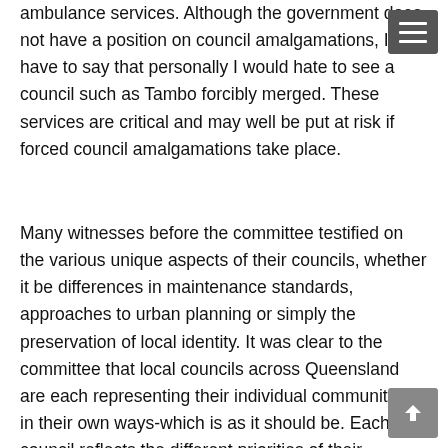ambulance services. Although the government does not have a position on council amalgamations, I have to say that personally I would hate to see a council such as Tambo forcibly merged. These services are critical and may well be put at risk if forced council amalgamations take place.
Many witnesses before the committee testified on the various unique aspects of their councils, whether it be differences in maintenance standards, approaches to urban planning or simply the preservation of local identity. It was clear to the committee that local councils across Queensland are each representing their individual communities in their own ways-which is as it should be. Each council reflects the different priorities of their communities, and what is clear is that these